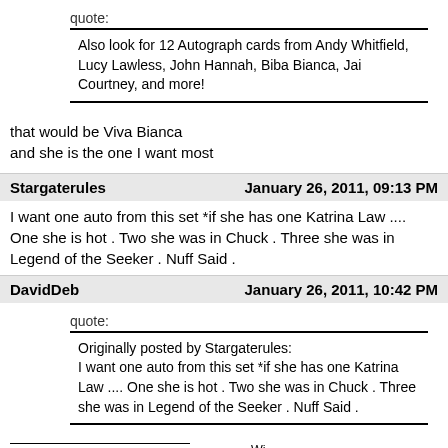quote:
Also look for 12 Autograph cards from Andy Whitfield, Lucy Lawless, John Hannah, Biba Bianca, Jai Courtney, and more!
that would be Viva Bianca
and she is the one I want most
Stargaterules	January 26, 2011, 09:13 PM
I want one auto from this set *if she has one Katrina Law .... One she is hot . Two she was in Chuck . Three she was in Legend of the Seeker . Nuff Said .
DavidDeb	January 26, 2011, 10:42 PM
quote:
Originally posted by Stargaterules:
I want one auto from this set *if she has one Katrina Law .... One she is hot . Two she was in Chuck . Three she was in Legend of the Seeker . Nuff Said .
Pretty sure your wish will be grantedWi